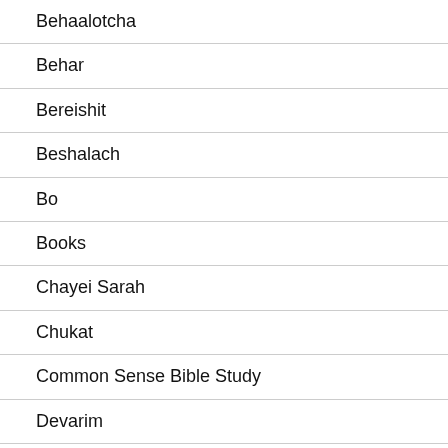Behaalotcha
Behar
Bereishit
Beshalach
Bo
Books
Chayei Sarah
Chukat
Common Sense Bible Study
Devarim
Ekev